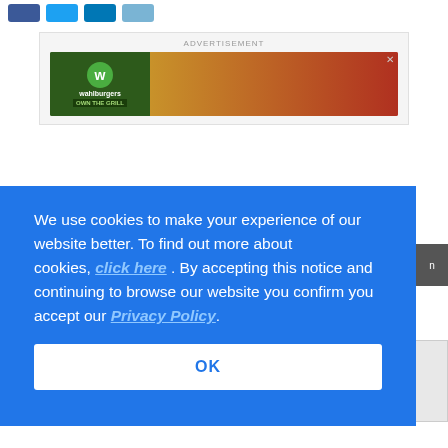[Figure (other): Row of social media share buttons: Facebook (dark blue), Twitter (light blue), LinkedIn (teal blue), and another light blue button]
[Figure (other): Advertisement banner for Wahlburgers brand showing logo, product images, and 'Own The Grill' tagline with close button]
We use cookies to make your experience of our website better. To find out more about cookies, click here . By accepting this notice and continuing to browse our website you confirm you accept our Privacy Policy
OK